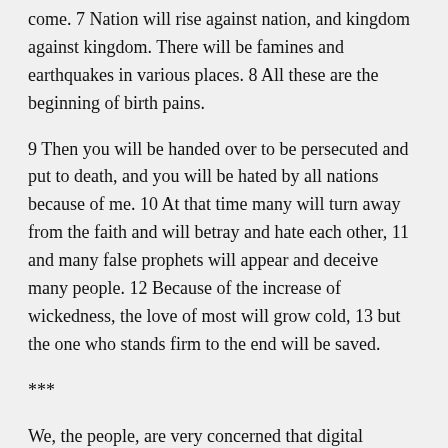come. 7 Nation will rise against nation, and kingdom against kingdom. There will be famines and earthquakes in various places. 8 All these are the beginning of birth pains.
9 Then you will be handed over to be persecuted and put to death, and you will be hated by all nations because of me. 10 At that time many will turn away from the faith and will betray and hate each other, 11 and many false prophets will appear and deceive many people. 12 Because of the increase of wickedness, the love of most will grow cold, 13 but the one who stands firm to the end will be saved.
***
We, the people, are very concerned that digital “vaccine passports,” by whatever name, can be used to restrict everyone’s constitutional rights to freedom and privacy which sit at the very heart of our culture and democracy.